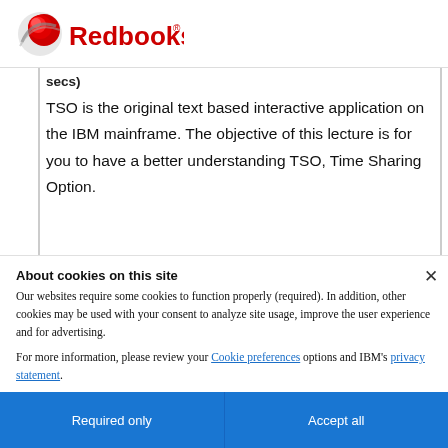IBM Redbooks logo
secs)
TSO is the original text based interactive application on the IBM mainframe. The objective of this lecture is for you to have a better understanding TSO, Time Sharing Option.
About cookies on this site
Our websites require some cookies to function properly (required). In addition, other cookies may be used with your consent to analyze site usage, improve the user experience and for advertising.
For more information, please review your Cookie preferences options and IBM's privacy statement.
Required only
Accept all